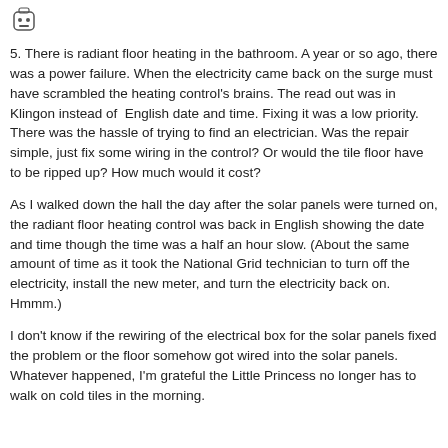[Figure (illustration): Small robot/avatar icon in top left corner]
5. There is radiant floor heating in the bathroom. A year or so ago, there was a power failure. When the electricity came back on the surge must have scrambled the heating control's brains. The read out was in Klingon instead of English date and time. Fixing it was a low priority. There was the hassle of trying to find an electrician. Was the repair simple, just fix some wiring in the control? Or would the tile floor have to be ripped up? How much would it cost?
As I walked down the hall the day after the solar panels were turned on, the radiant floor heating control was back in English showing the date and time though the time was a half an hour slow. (About the same amount of time as it took the National Grid technician to turn off the electricity, install the new meter, and turn the electricity back on. Hmmm.)
I don't know if the rewiring of the electrical box for the solar panels fixed the problem or the floor somehow got wired into the solar panels. Whatever happened, I'm grateful the Little Princess no longer has to walk on cold tiles in the morning.